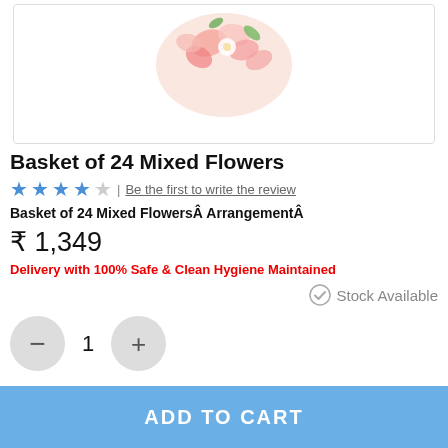[Figure (photo): Partial product image of a basket of mixed flowers, showing the top portion of a floral arrangement with pink and white flowers against a white background with light border]
Basket of 24 Mixed Flowers
★★★★☆ | Be the first to write the review
Basket of 24 Mixed Flowers  Arrangement
₹ 1,349
Delivery with 100% Safe & Clean Hygiene Maintained
✓ Stock Available
- 1 +
ADD TO CART